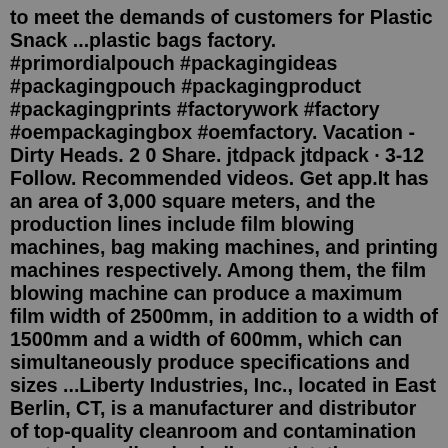to meet the demands of customers for Plastic Snack ...plastic bags factory. #primordialpouch #packagingideas #packagingpouch #packagingproduct #packagingprints #factorywork #factory #oempackagingbox #oemfactory. Vacation - Dirty Heads. 2 0 Share. jtdpack jtdpack · 3-12 Follow. Recommended videos. Get app.It has an area of 3,000 square meters, and the production lines include film blowing machines, bag making machines, and printing machines respectively. Among them, the film blowing machine can produce a maximum film width of 2500mm, in addition to a width of 1500mm and a width of 600mm, which can simultaneously produce specifications and sizes ...Liberty Industries, Inc., located in East Berlin, CT, is a manufacturer and distributor of top-quality cleanroom and contamination control supplies, including antistatic packaging products. Riverside Paper Co., Inc. is a Miami, FL-based supplier of shipping, packaging, and maintenance products including a variety of plastic bags. Packaging Box, Plastic Bag, Mailing T...